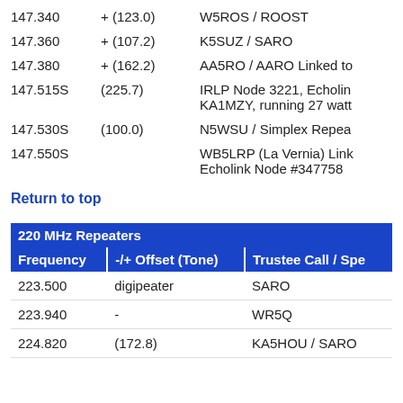147.340   +(123.0)   W5ROS / ROOST
147.360   +(107.2)   K5SUZ / SARO
147.380   +(162.2)   AA5RO / AARO Linked to
147.515S   (225.7)   IRLP Node 3221, Echolink KA1MZY, running 27 watts
147.530S   (100.0)   N5WSU / Simplex Repeat...
147.550S              WB5LRP (La Vernia) Link... Echolink Node #347758
Return to top
220 MHz Repeaters
| Frequency | -/+ Offset (Tone) | Trustee Call / Spe... |
| --- | --- | --- |
| 223.500 | digipeater | SARO |
| 223.940 | - | WR5Q |
| 224.820 | (172.8) | KA5HOU / SARO... |